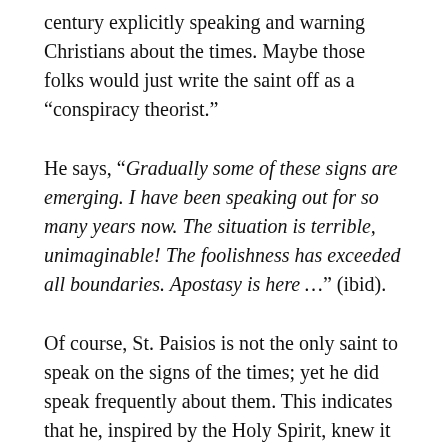century explicitly speaking and warning Christians about the times. Maybe those folks would just write the saint off as a “conspiracy theorist.”
He says, “Gradually some of these signs are emerging. I have been speaking out for so many years now. The situation is terrible, unimaginable! The foolishness has exceeded all boundaries. Apostasy is here …” (ibid).
Of course, St. Paisios is not the only saint to speak on the signs of the times; yet he did speak frequently about them. This indicates that he, inspired by the Holy Spirit, knew it was a vital topic to cover. Yes, it is by no means pleasant but we in the “West” are much too consumed with pleasantries. It is important to speak about the signs of the times.